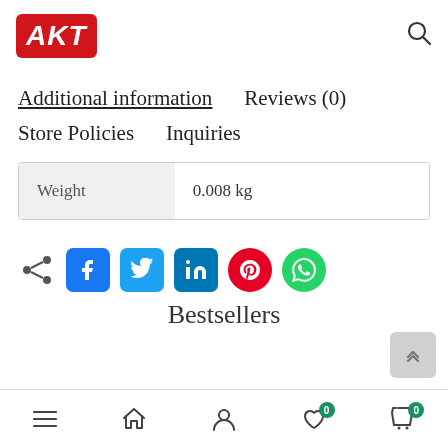[Figure (logo): AKT logo in red rounded rectangle with white italic bold text]
Additional information   Reviews (0)
Store Policies   Inquiries
| Weight | 0.008 kg |
| --- | --- |
[Figure (infographic): Social sharing icons: share, Facebook, Twitter, LinkedIn, Pinterest, WhatsApp]
Bestsellers
Navigation bar with menu, home, account, wishlist (0), cart (0)